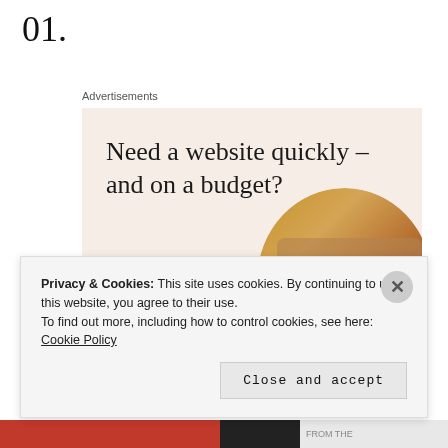01.
Advertisements
[Figure (illustration): Advertisement banner with beige background. Headline: 'Need a website quickly – and on a budget?' Subheading: 'Let us build it for you'. Button: 'Let's get started'. Circular photo of person's hands typing on laptop.]
Privacy & Cookies: This site uses cookies. By continuing to use this website, you agree to their use.
To find out more, including how to control cookies, see here: Cookie Policy
Close and accept